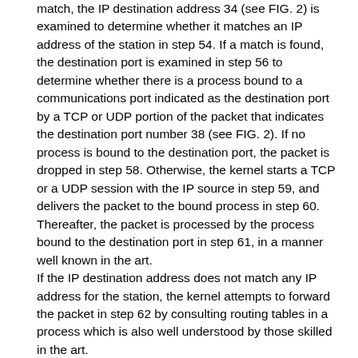match, the IP destination address 34 (see FIG. 2) is examined to determine whether it matches an IP address of the station in step 54. If a match is found, the destination port is examined in step 56 to determine whether there is a process bound to a communications port indicated as the destination port by a TCP or UDP portion of the packet that indicates the destination port number 38 (see FIG. 2). If no process is bound to the destination port, the packet is dropped in step 58. Otherwise, the kernel starts a TCP or a UDP session with the IP source in step 59, and delivers the packet to the bound process in step 60. Thereafter, the packet is processed by the process bound to the destination port in step 61, in a manner well known in the art. If the IP destination address does not match any IP address for the station, the kernel attempts to forward the packet in step 62 by consulting routing tables in a process which is also well understood by those skilled in the art. FIG. 6 is a flow diagram of a general overview of packet processing by a UNIX operating system kernel modified in accordance with the invention. In order to understand the process completely, it is important to understand that the